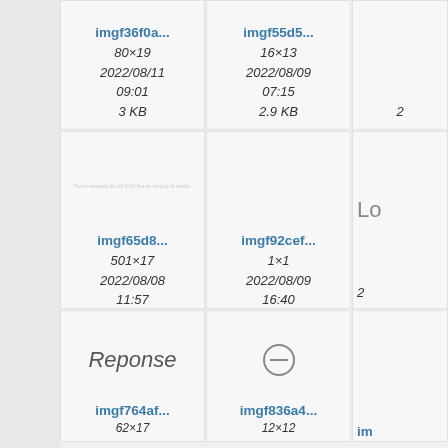[Figure (screenshot): File browser grid showing image thumbnails with filenames, dimensions, dates, and sizes. Row 1 (partial top): imgf36f0a... (80×19, 2022/08/11 09:01, 3 KB), imgf55d5... (16×13, 2022/08/09 07:15, 2.9 KB), partial third cell. Row 2: imgf65d8... (501×17, 2022/08/08 11:57, 4.6 KB), imgf92cef... (1×1, 2022/08/09 16:40, 350 B), partial third cell with 'Lo'. Row 3: 'Reponse' italic text preview, circle minus symbol preview, partial third. Row 4 (partial bottom): imgf764af..., imgf836a4..., partial third.]